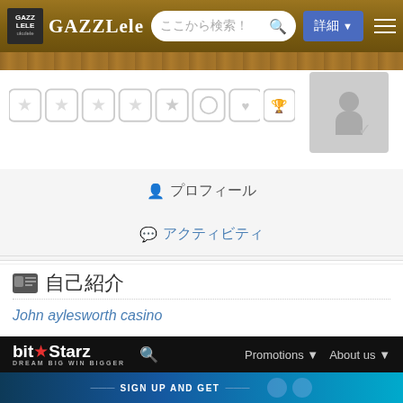GAZZLELE ここから検索！ 詳細
[Figure (screenshot): Rating/achievement icons row with stars and badges]
[Figure (photo): User avatar placeholder (grey box with person silhouette icon)]
プロフィール
アクティビティ
自己紹介
John aylesworth casino
[Figure (screenshot): BitStarz casino website screenshot showing logo, navigation with Promotions and About us links, and SIGN UP AND GET banner]